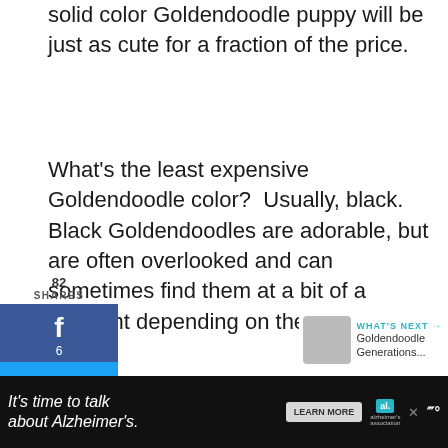solid color Goldendoodle puppy will be just as cute for a fraction of the price.
What's the least expensive Goldendoodle color? Usually, black. Black Goldendoodles are adorable, but are often overlooked and can sometimes find them at a bit of a discount depending on the demand.
82 SHARES
f 6
Twitter share
p 76
88
ADVERTISEMENT
WHAT'S NEXT → Goldendoodle Generations...
It's time to talk about Alzheimer's. LEARN MORE